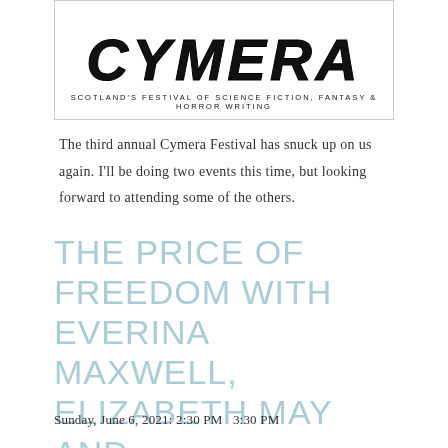[Figure (logo): Cymera Festival logo with large stylized text 'CYMERA' and tagline 'SCOTLAND'S FESTIVAL OF SCIENCE FICTION, FANTASY & HORROR WRITING' inside a bordered box]
The third annual Cymera Festival has snuck up on us again. I'll be doing two events this time, but looking forward to attending some of the others.
THE PRICE OF FREEDOM WITH EVERINA MAXWELL, ELIZABETH MAY AND LAURA LAM
Sunday, June 6, 2021: 2:30 PM  3:30 PM